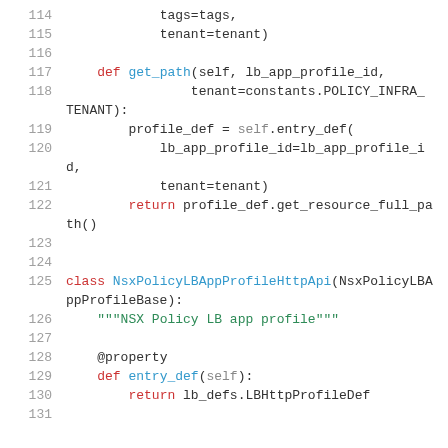[Figure (screenshot): Python source code snippet showing lines 114-131, including function get_path and class NsxPolicyLBAppProfileHttpApi definition]